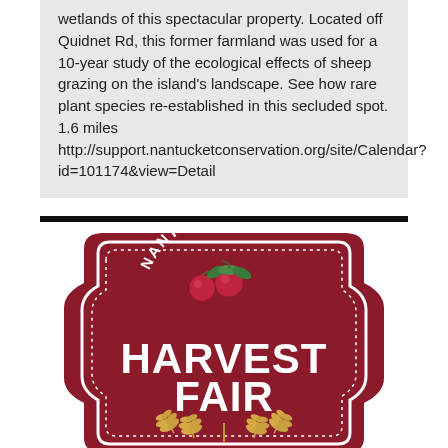wetlands of this spectacular property. Located off Quidnet Rd, this former farmland was used for a 10-year study of the ecological effects of sheep grazing on the island's landscape. See how rare plant species re-established in this secluded spot. 1.6 miles http://support.nantucketconservation.org/site/Calendar?id=101174&view=Detail
[Figure (logo): Nantucket Harvest Fair logo — dark red badge shape with white text 'NANTUCKET' at top arc, large white text 'HARVEST FAIR' in center, cranberries with green leaves above, yellow wheat stalks below, and 'OCTOBER 1-2, 2022' at the bottom.]